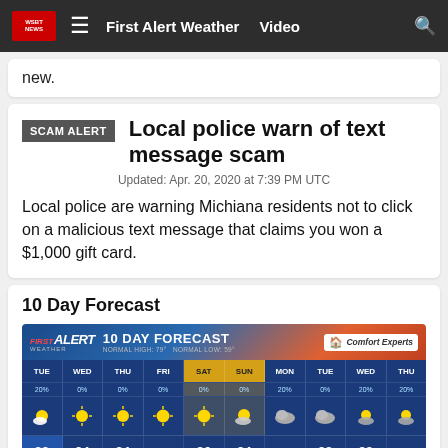First Alert Weather  Video
new.
Local police warn of text message scam
Updated: Apr. 20, 2020 at 7:39 PM UTC
Local police are warning Michiana residents not to click on a malicious text message that claims you won a $1,000 gift card.
10 Day Forecast
[Figure (infographic): 10 Day Forecast graphic showing TUE through THU with sun/cloud icons and temperatures. Normal High: 79°, Normal Low: 59°. Days: TUE 20%, WED 0%, THU 0%, FRI 0%, SAT 0%, SUN 0%, MON 20%, TUE 0%, WED 20%, THU 20%. Temperatures visible at bottom: 83, 84, 84, 86, 84, 82, 82]